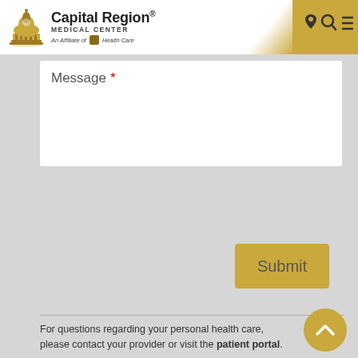[Figure (logo): Capital Region Medical Center logo with gold dome icon. Text: Capital Region® MEDICAL CENTER An Affiliate of Health Care]
Message *
Submit
For questions regarding your personal health care, please contact your provider or visit the patient portal.